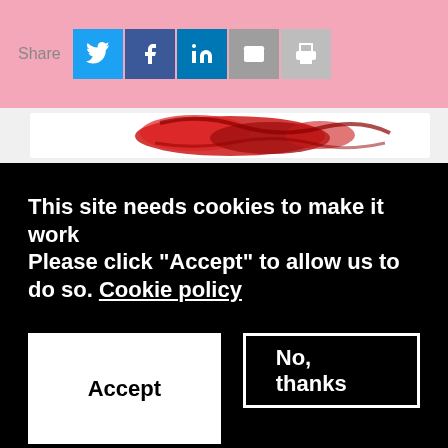[Figure (screenshot): Pink top bar with Share label and social media buttons: Twitter (blue), Facebook (dark blue), LinkedIn (blue), Email (grey), Print (grey)]
[Figure (photo): Partially visible decorative image strip showing colorful abstract/logo elements on white background]
This site needs cookies to make it work
Please click "Accept" to allow us to do so. Cookie policy
Accept
No, thanks